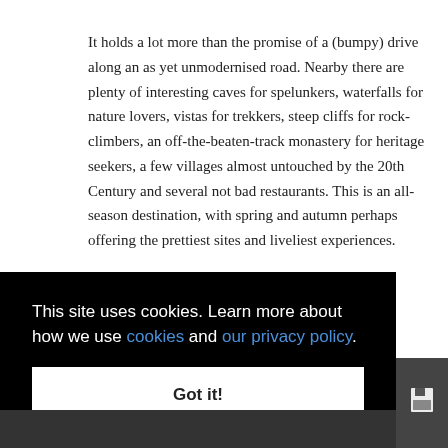It holds a lot more than the promise of a (bumpy) drive along an as yet unmodernised road. Nearby there are plenty of interesting caves for spelunkers, waterfalls for nature lovers, vistas for trekkers, steep cliffs for rock-climbers, an off-the-beaten-track monastery for heritage seekers, a few villages almost untouched by the 20th Century and several not bad restaurants. This is an all-season destination, with spring and autumn perhaps offering the prettiest sites and liveliest experiences.
This site uses cookies. Learn more about how we use cookies and our privacy policy.
Got it!